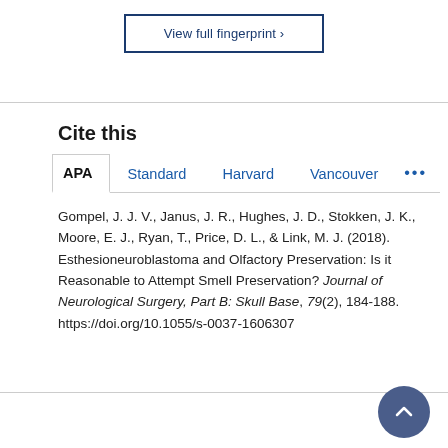View full fingerprint ›
Cite this
APA | Standard | Harvard | Vancouver | ...
Gompel, J. J. V., Janus, J. R., Hughes, J. D., Stokken, J. K., Moore, E. J., Ryan, T., Price, D. L., & Link, M. J. (2018). Esthesioneuroblastoma and Olfactory Preservation: Is it Reasonable to Attempt Smell Preservation? Journal of Neurological Surgery, Part B: Skull Base, 79(2), 184-188. https://doi.org/10.1055/s-0037-1606307